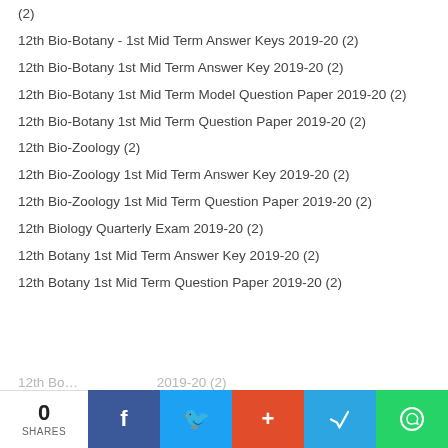(2)
12th Bio-Botany - 1st Mid Term Answer Keys 2019-20 (2)
12th Bio-Botany 1st Mid Term Answer Key 2019-20 (2)
12th Bio-Botany 1st Mid Term Model Question Paper 2019-20 (2)
12th Bio-Botany 1st Mid Term Question Paper 2019-20 (2)
12th Bio-Zoology (2)
12th Bio-Zoology 1st Mid Term Answer Key 2019-20 (2)
12th Bio-Zoology 1st Mid Term Question Paper 2019-20 (2)
12th Biology Quarterly Exam 2019-20 (2)
12th Botany 1st Mid Term Answer Key 2019-20 (2)
12th Botany 1st Mid Term Question Paper 2019-20 (2)